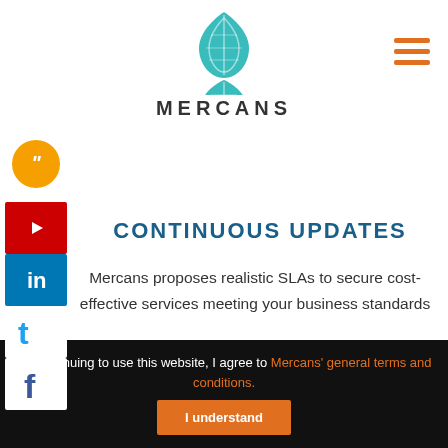[Figure (logo): Mercans logo with teal leaf/feather design and MERCANS wordmark]
CONTINUOUS UPDATES
Mercans proposes realistic SLAs to secure cost-effective services meeting your business standards
[Figure (infographic): Light teal banner with bold italic text 'expenses']
By continuing to use this website, I agree to Mercans' general terms and conditions. | I understand